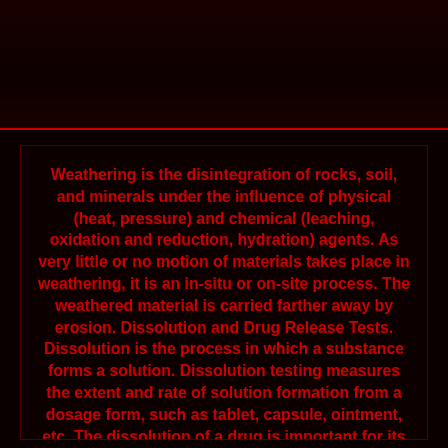Weathering is the disintegration of rocks, soil, and minerals under the influence of physical (heat, pressure) and chemical (leaching, oxidation and reduction, hydration) agents. As very little or no motion of materials takes place in weathering, it is an in-situ or on-site process. The weathered material is carried farther away by erosion. Dissolution and Drug Release Tests. Dissolution is the process in which a substance forms a solution. Dissolution testing measures the extent and rate of solution formation from a dosage form, such as tablet, capsule, ointment, etc. The dissolution of a drug is important for its bioavailability and therapeutic effectiveness.